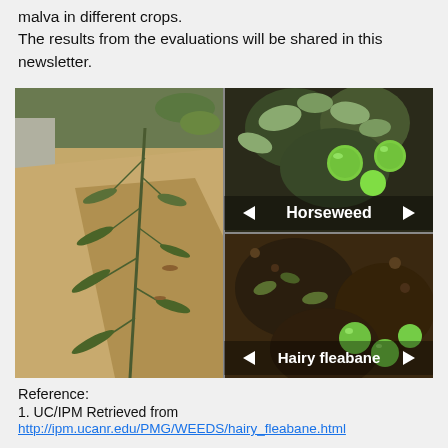malva in different crops. The results from the evaluations will be shared in this newsletter.
[Figure (photo): Four-panel photo grid showing horseweed and hairy fleabane weeds. Left panel: tall horseweed plant growing in sandy soil along irrigation channel. Top-right: close-up of horseweed with small green spheres. Bottom-right: close-up of hairy fleabane seedlings in dark soil. Labels 'Horseweed' and 'Hairy fleabane' with navigation arrows overlaid.]
Reference:
1. UC/IPM Retrieved from
http://ipm.ucanr.edu/PMG/WEEDS/hairy_fleabane.html